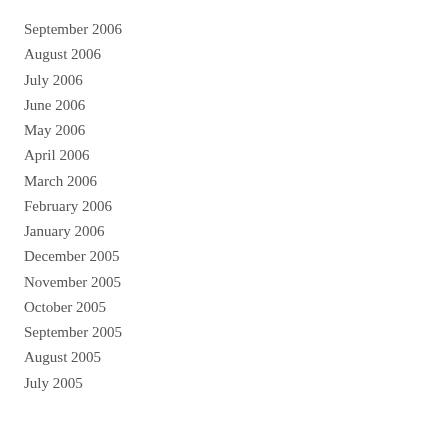September 2006
August 2006
July 2006
June 2006
May 2006
April 2006
March 2006
February 2006
January 2006
December 2005
November 2005
October 2005
September 2005
August 2005
July 2005